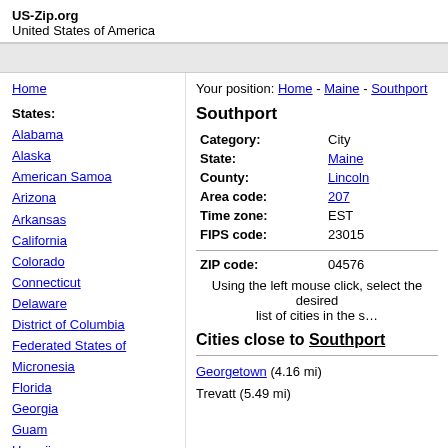US-Zip.org
United States of America
Home
States:
Alabama
Alaska
American Samoa
Arizona
Arkansas
California
Colorado
Connecticut
Delaware
District of Columbia
Federated States of Micronesia
Florida
Georgia
Guam
Hawaii
Your position: Home - Maine - Southport
Southport
| Field | Value |
| --- | --- |
| Category: | City |
| State: | Maine |
| County: | Lincoln |
| Area code: | 207 |
| Time zone: | EST |
| FIPS code: | 23015 |
| ZIP code: | 04576 |
Using the left mouse click, select the desired list of cities in the s…
Cities close to Southport
Georgetown (4.16 mi)
Trevatt (5.49 mi)